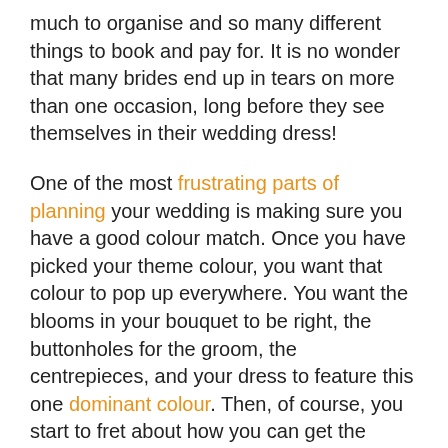much to organise and so many different things to book and pay for. It is no wonder that many brides end up in tears on more than one occasion, long before they see themselves in their wedding dress!
One of the most frustrating parts of planning your wedding is making sure you have a good colour match. Once you have picked your theme colour, you want that colour to pop up everywhere. You want the blooms in your bouquet to be right, the buttonholes for the groom, the centrepieces, and your dress to feature this one dominant colour. Then, of course, you start to fret about how you can get the wedding stationery and menus to print right. Potentially sending them back several times can be a significant cost.
One way to avoid this is to print out your own wedding invitations from a template website like freebie.983invitation.com. You will be able to adjust the colours your home printer churns out easily and far more cheaply than using a professional printer. This colour can